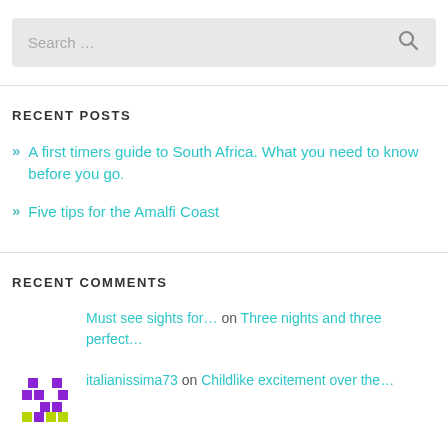[Figure (screenshot): Search bar with placeholder text 'Search ...' and a magnifying glass icon on the right]
RECENT POSTS
» A first timers guide to South Africa. What you need to know before you go.
» Five tips for the Amalfi Coast
RECENT COMMENTS
Must see sights for… on Three nights and three perfect…
italianissima73 on Childlike excitement over the…